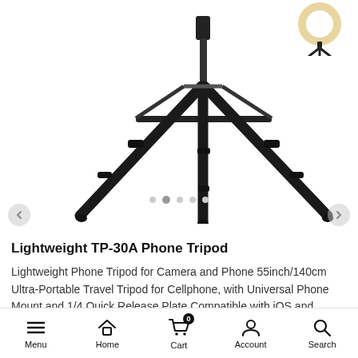[Figure (photo): Black phone tripod (TP-30A) with extended legs shown from front angle on white background, with a ring light thumbnail on the upper right]
Lightweight TP-30A Phone Tripod
Lightweight Phone Tripod for Camera and Phone 55inch/140cm Ultra-Portable Travel Tripod for Cellphone, with Universal Phone Mount and 1/4 Quick Release Plate Compatible with iOS and Android Phone
Menu  Home  Cart  Account  Search